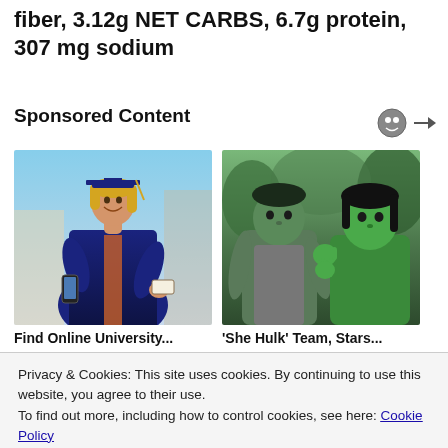fiber, 3.12g NET CARBS, 6.7g protein, 307 mg sodium
Sponsored Content
[Figure (photo): Woman in graduation cap and gown holding diploma and phone, smiling]
[Figure (photo): Two green-skinned characters facing each other outdoors (She-Hulk scene)]
Find Online University...
'She Hulk' Team, Stars...
Privacy & Cookies: This site uses cookies. By continuing to use this website, you agree to their use.
To find out more, including how to control cookies, see here: Cookie Policy
Close and accept